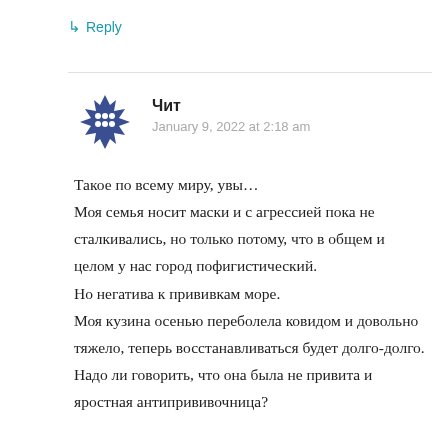↳ Reply
[Figure (logo): Blue spiky star/asterisk avatar icon for user 'Чит']
Чит
January 9, 2022 at 2:18 am
Такое по всему миру, увы… Моя семья носит маски и с агрессией пока не сталкивались, но только потому, что в общем и целом у нас город пофигистический. Но негатива к прививкам море. Моя кузина осенью переболела ковидом и довольно тяжело, теперь восстанавливаться будет долго-долго. Надо ли говорить, что она была не привита и яростная антипрививочница?